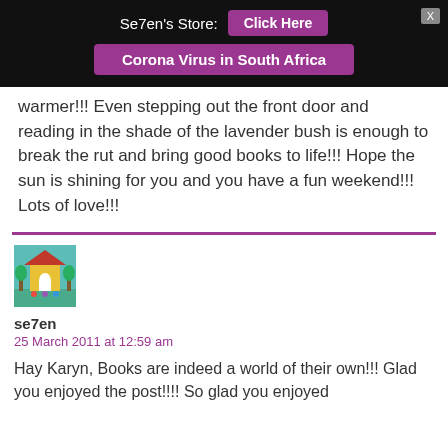Se7en's Store: [Click Here] [Corona Virus in South Africa] [X]
warmer!!! Even stepping out the front door and reading in the shade of the lavender bush is enough to break the rut and bring good books to life!!! Hope the sun is shining for you and you have a fun weekend!!! Lots of love!!!
[Figure (photo): Avatar image showing a colorful illustrated scene with a yellow building and small figures in front of a teal background]
se7en
25 March 2011 at 12:59 am
Hay Karyn, Books are indeed a world of their own!!! Glad you enjoyed the post!!!! So glad you enjoyed